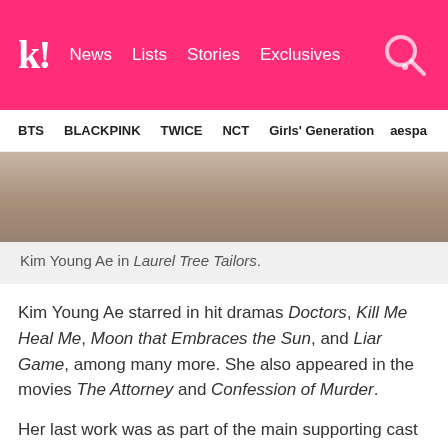k! News Lists Stories Exclusives
BTS BLACKPINK TWICE NCT Girls' Generation aespa
[Figure (photo): Photo of Kim Young Ae in Laurel Tree Tailors]
Kim Young Ae in Laurel Tree Tailors.
Kim Young Ae starred in hit dramas Doctors, Kill Me Heal Me, Moon that Embraces the Sun, and Liar Game, among many more. She also appeared in the movies The Attorney and Confession of Murder.
Her last work was as part of the main supporting cast for Laurel Tree Tailors, where she showed strong determination to film each and every scene to the best of her ability even with her